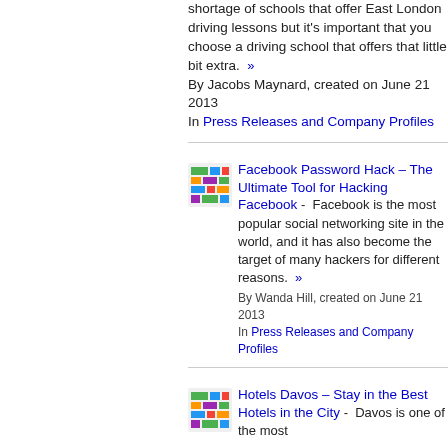shortage of schools that offer East London driving lessons but it's important that you choose a driving school that offers that little bit extra. » By Jacobs Maynard, created on June 21 2013 In Press Releases and Company Profiles
[Figure (illustration): Small thumbnail icon showing a colorful grid/table layout graphic]
Facebook Password Hack – The Ultimate Tool for Hacking Facebook -  Facebook is the most popular social networking site in the world, and it has also become the target of many hackers for different reasons.  » By Wanda Hill, created on June 21 2013 In Press Releases and Company Profiles
[Figure (illustration): Small thumbnail icon showing a colorful grid/table layout graphic]
Hotels Davos – Stay in the Best Hotels in the City -  Davos is one of the most